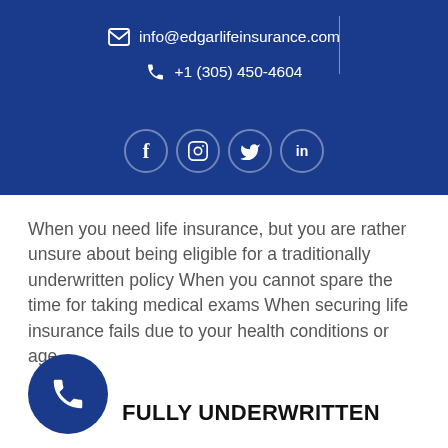info@edgarlifeinsurance.com  +1 (305) 450-4604
[Figure (infographic): Social media icons: Facebook, Instagram, Twitter, LinkedIn in circles on dark blue header]
When you need life insurance, but you are rather unsure about being eligible for a traditionally underwritten policy When you cannot spare the time for taking medical exams When securing life insurance fails due to your health conditions or age
[Figure (infographic): Dark blue circle with white phone icon]
FULLY UNDERWRITTEN